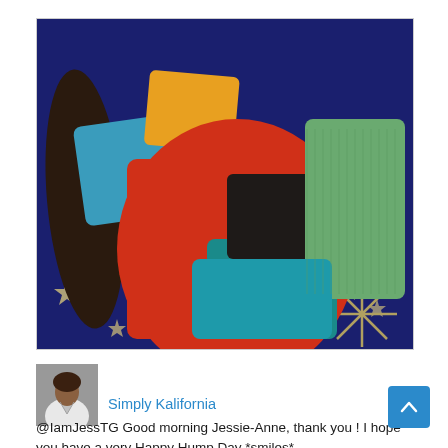[Figure (photo): Colorful clothing items (red, teal, orange/yellow, green, dark brown/black sweaters and tops) laid out on a dark blue star-patterned bedspread/blanket.]
[Figure (photo): Small avatar photo of a person wearing a white shirt, partially visible from shoulders up.]
Simply Kalifornia
@IamJessTG Good morning Jessie-Anne, thank you ! I hope you have a very Happy Hump Day *smiles*.